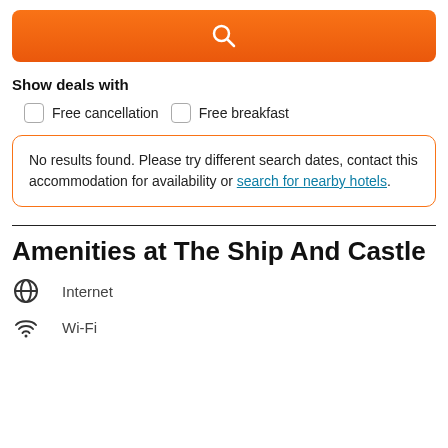[Figure (other): Orange search button with magnifying glass icon]
Show deals with
Free cancellation
Free breakfast
No results found. Please try different search dates, contact this accommodation for availability or search for nearby hotels.
Amenities at The Ship And Castle
Internet
Wi-Fi